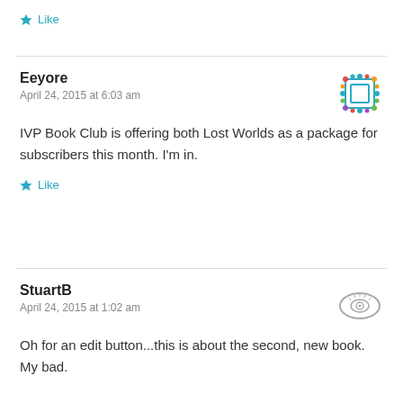Like
Eeyore
April 24, 2015 at 6:03 am
[Figure (illustration): User avatar for Eeyore - colorful dotted square icon]
IVP Book Club is offering both Lost Worlds as a package for subscribers this month. I'm in.
Like
StuartB
April 24, 2015 at 1:02 am
[Figure (illustration): User avatar for StuartB - grey oval/eye shaped icon]
Oh for an edit button...this is about the second, new book. My bad.